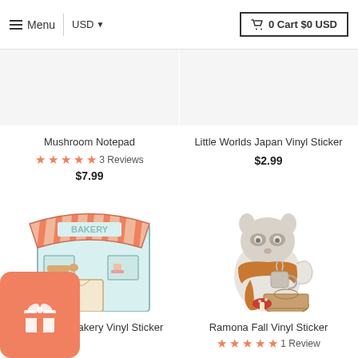Menu | USD ▼ | 🛒 0 Cart $0 USD
Mushroom Notepad
★★★★★ 3 Reviews
$7.99
Little Worlds Japan Vinyl Sticker
$2.99
[Figure (illustration): Cute cartoon bakery storefront with striped awning, bread on shelf, and a small animal character]
[Figure (illustration): Cute cartoon raccoon wearing a scarf, holding a mug, sitting on a log with mushrooms]
berry Bakery Vinyl Sticker
Ramona Fall Vinyl Sticker
★★★★★ 1 Review